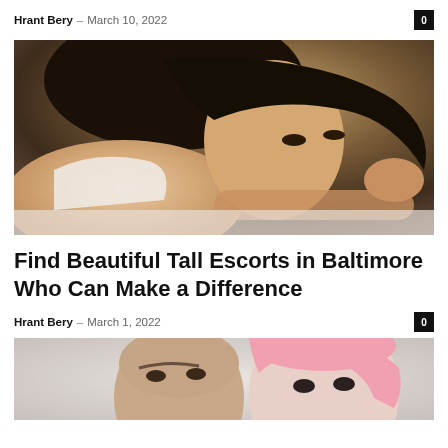Hrant Bery – March 10, 2022  0
[Figure (photo): Young Asian woman with dark hair lying down, wearing white top, looking downward, warm brown toned background]
Find Beautiful Tall Escorts in Baltimore Who Can Make a Difference
Hrant Bery – March 1, 2022  0
[Figure (photo): Two people: a bald man and a woman with pink hair, photographed against a light background, partially cropped at bottom of page]